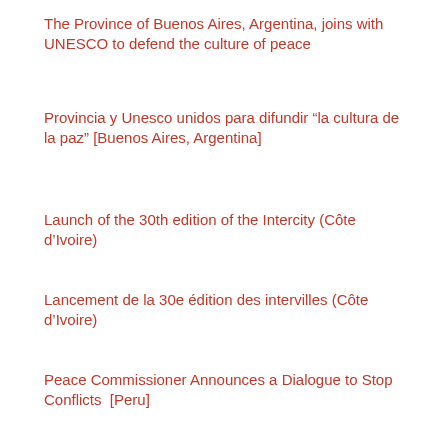The Province of Buenos Aires, Argentina, joins with UNESCO to defend the culture of peace
Provincia y Unesco unidos para difundir “la cultura de la paz” [Buenos Aires, Argentina]
Launch of the 30th edition of the Intercity (Côte d’Ivoire)
Lancement de la 30e édition des intervilles (Côte d’Ivoire)
Peace Commissioner Announces a Dialogue to Stop Conflicts  [Peru]
Comisionado para la Paz anuncia diálogo para frenar conflictos [Peru]
...